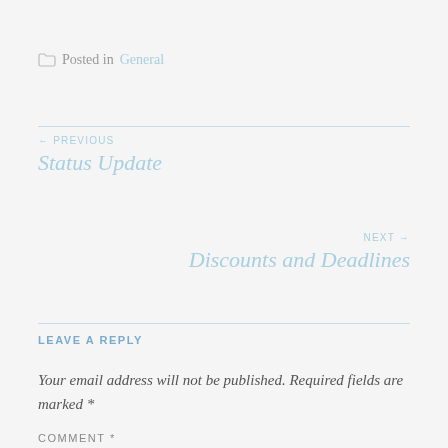Posted in General
← PREVIOUS
Status Update
NEXT →
Discounts and Deadlines
LEAVE A REPLY
Your email address will not be published. Required fields are marked *
COMMENT *